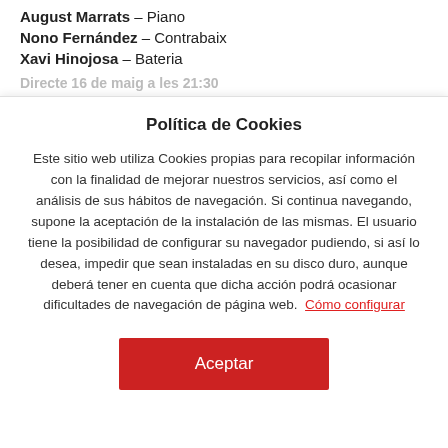August Marrats – Piano
Nono Fernández – Contrabaix
Xavi Hinojosa – Bateria
Directe 16 de maig a les 21:30
Política de Cookies
Este sitio web utiliza Cookies propias para recopilar información con la finalidad de mejorar nuestros servicios, así como el análisis de sus hábitos de navegación. Si continua navegando, supone la aceptación de la instalación de las mismas. El usuario tiene la posibilidad de configurar su navegador pudiendo, si así lo desea, impedir que sean instaladas en su disco duro, aunque deberá tener en cuenta que dicha acción podrá ocasionar dificultades de navegación de página web. Cómo configurar
Aceptar